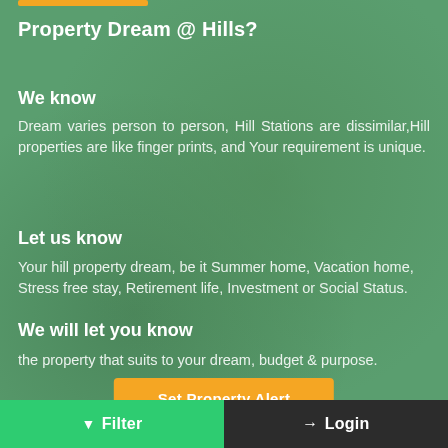Property Dream @ Hills?
We know
Dream varies person to person, Hill Stations are dissimilar,Hill properties are like finger prints, and Your requirement is unique.
Let us know
Your hill property dream, be it Summer home, Vacation home, Stress free stay, Retirement life, Investment or Social Status.
We will let you know
the property that suits to your dream, budget & purpose.
Set Property Alert
Filter   Login